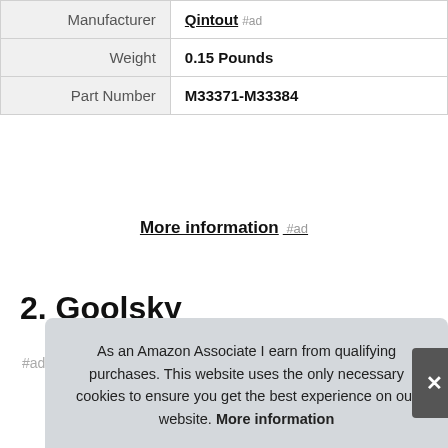|  |  |
| --- | --- |
| Manufacturer | Qintout #ad |
| Weight | 0.15 Pounds |
| Part Number | M33371-M33384 |
More information #ad
2. Goolsky
#ad
As an Amazon Associate I earn from qualifying purchases. This website uses the only necessary cookies to ensure you get the best experience on our website. More information